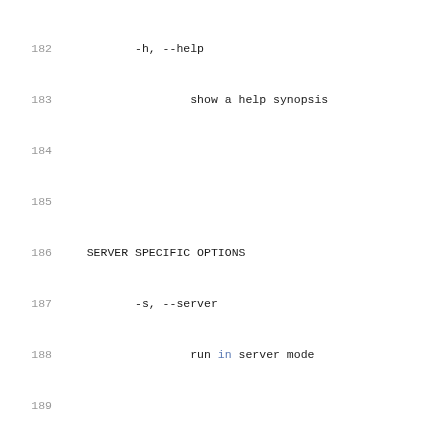182   -h, --help
183           show a help synopsis
184
185
186   SERVER SPECIFIC OPTIONS
187         -s, --server
188                 run in server mode
189
190         -D, --daemon
191                 run the server in background as
192
193         -I, --pidfile file
194                 write  a file with the process
195                 daemon.
196
197         -1, --one-off
198                 handle one client connection,
199
200         --rsa-private-key-path file
201                 path to the RSA private key (p
202                 decrypt  authentication  crede